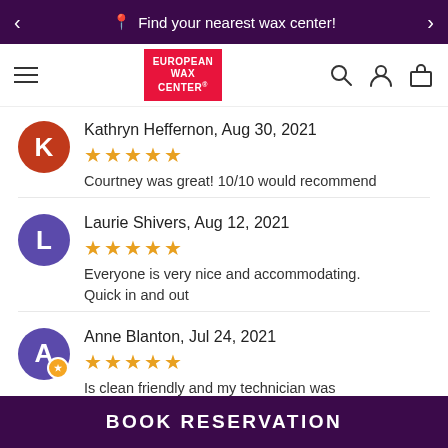Find your nearest wax center!
[Figure (logo): European Wax Center logo - red background with white text]
Kathryn Heffernon, Aug 30, 2021
★★★★★
Courtney was great! 10/10 would recommend
Laurie Shivers, Aug 12, 2021
★★★★★
Everyone is very nice and accommodating. Quick in and out
Anne Blanton, Jul 24, 2021
★★★★★
Is clean friendly and my technician was
BOOK RESERVATION